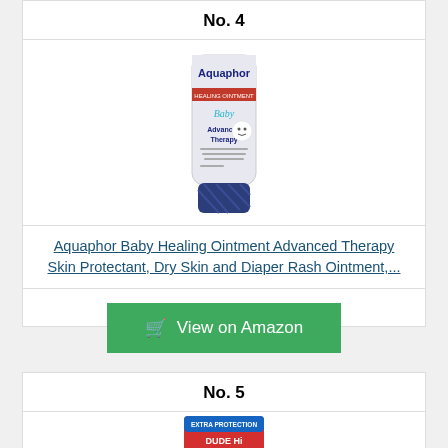No. 4
[Figure (photo): Aquaphor Baby Healing Ointment tube product photo — white tube with blue cap, red band near top, 'Aquaphor' brand name, 'Baby Advanced Therapy' text]
Aquaphor Baby Healing Ointment Advanced Therapy Skin Protectant, Dry Skin and Diaper Rash Ointment,...
View on Amazon
No. 5
[Figure (photo): Partial view of product packaging with red and blue design — top of product just visible at bottom of page]